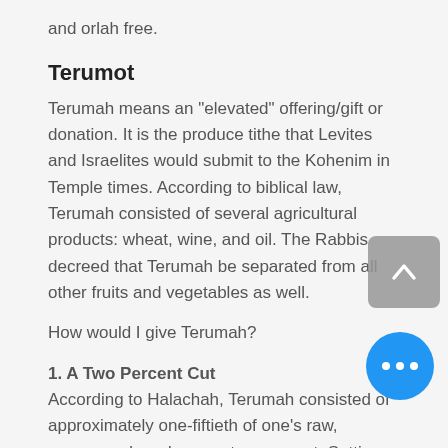and orlah free.
Terumot
Terumah means an "elevated" offering/gift or donation. It is the produce tithe that Levites and Israelites would submit to the Kohenim in Temple times. According to biblical law, Terumah consisted of several agricultural products: wheat, wine, and oil. The Rabbis decreed that Terumah be separated from all other fruits and vegetables as well.
How would I give Terumah?
1. A Two Percent Cut
According to Halachah, Terumah consisted of approximately one-fiftieth of one's raw, unreserved produce--or two percent. Setting that amount aside would be your first step.
2. Specially Reserved
Once designated, Terumah could not be used for anything else. Accidental consumption by